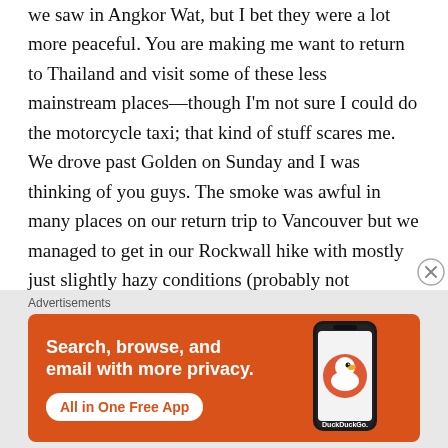we saw in Angkor Wat, but I bet they were a lot more peaceful. You are making me want to return to Thailand and visit some of these less mainstream places—though I'm not sure I could do the motorcycle taxi; that kind of stuff scares me.
We drove past Golden on Sunday and I was thinking of you guys. The smoke was awful in many places on our return trip to Vancouver but we managed to get in our Rockwall hike with mostly just slightly hazy conditions (probably not
Advertisements
[Figure (other): DuckDuckGo advertisement banner on orange background. Left side text: 'Search, browse, and email with more privacy.' with a white pill button 'All in One Free App'. Right side shows a smartphone with the DuckDuckGo app logo and wordmark.]